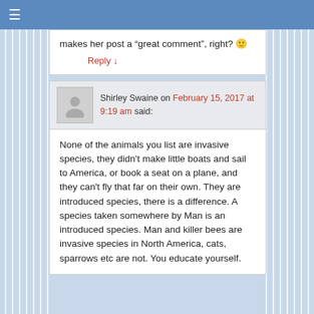≡
makes her post a “great comment”, right? 🙂
Reply ↓
Shirley Swaine on February 15, 2017 at 9:19 am said:
None of the animals you list are invasive species, they didn't make little boats and sail to America, or book a seat on a plane, and they can't fly that far on their own. They are introduced species, there is a difference. A species taken somewhere by Man is an introduced species. Man and killer bees are invasive species in North America, cats, sparrows etc are not. You educate yourself.